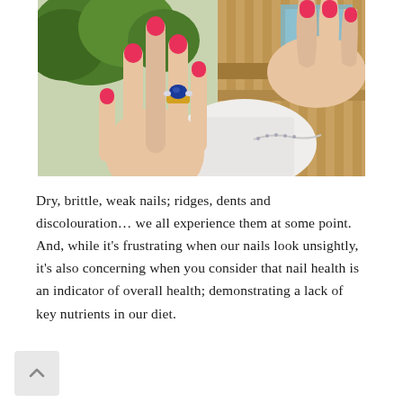[Figure (photo): Close-up photo of two women's hands with bright pink/red nail polish. One hand displays a gold ring with a blue sapphire stone. Background shows outdoor wooden deck railing and green trees.]
Dry, brittle, weak nails; ridges, dents and discolouration… we all experience them at some point. And, while it's frustrating when our nails look unsightly, it's also concerning when you consider that nail health is an indicator of overall health; demonstrating a lack of key nutrients in our diet.